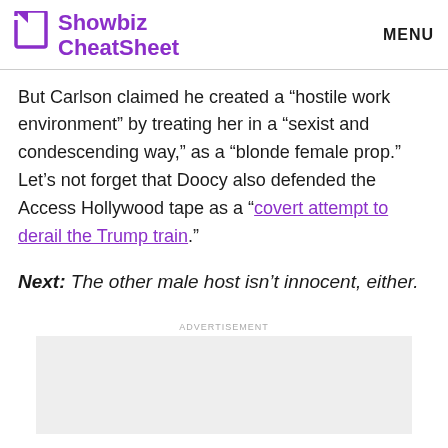Showbiz CheatSheet | MENU
But Carlson claimed he created a “hostile work environment” by treating her in a “sexist and condescending way,” as a “blonde female prop.” Let’s not forget that Doocy also defended the Access Hollywood tape as a “covert attempt to derail the Trump train.”
Next: The other male host isn’t innocent, either.
[Figure (other): Advertisement placeholder box (gray rectangle)]